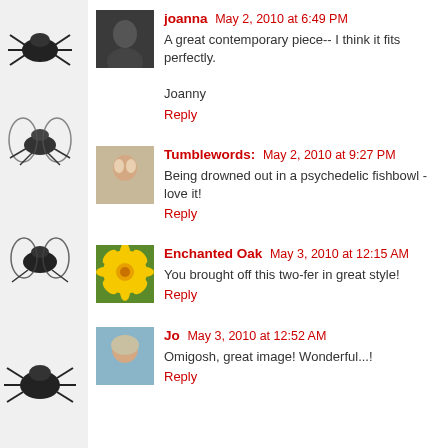[Figure (illustration): Sidebar with decorative bug/insect silhouette illustrations on white/light background]
joanna May 2, 2010 at 6:49 PM
A great contemporary piece-- I think it fits perfectly.

Joanny
Reply
Tumblewords: May 2, 2010 at 9:27 PM
Being drowned out in a psychedelic fishbowl - love it!
Reply
Enchanted Oak May 3, 2010 at 12:15 AM
You brought off this two-fer in great style!
Reply
Jo May 3, 2010 at 12:52 AM
Omigosh, great image! Wonderful...!
Reply